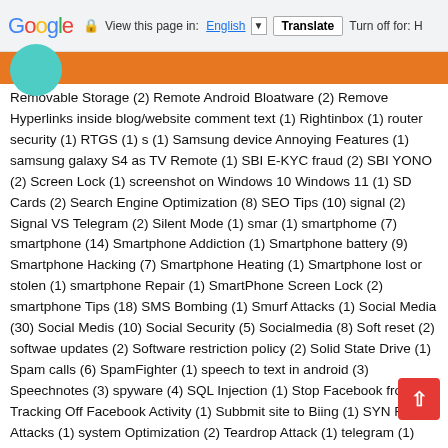Google | View this page in: English [dropdown] | Translate | Turn off for: H
Removable Storage (2) Remote Android Bloatware (2) Remove Hyperlinks inside blog/website comment text (1) Rightinbox (1) router security (1) RTGS (1) s (1) Samsung device Annoying Features (1) samsung galaxy S4 as TV Remote (1) SBI E-KYC fraud (2) SBI YONO (2) Screen Lock (1) screenshot on Windows 10 Windows 11 (1) SD Cards (2) Search Engine Optimization (8) SEO Tips (10) signal (2) Signal VS Telegram (2) Silent Mode (1) smar (1) smartphome (7) smartphone (14) Smartphone Addiction (1) Smartphone battery (9) Smartphone Hacking (7) Smartphone Heating (1) Smartphone lost or stolen (1) smartphone Repair (1) SmartPhone Screen Lock (2) smartphone Tips (18) SMS Bombing (1) Smurf Attacks (1) Social Media (30) Social Medis (10) Social Security (5) Socialmedia (8) Soft reset (2) softwae updates (2) Software restriction policy (2) Solid State Drive (1) Spam calls (6) SpamFighter (1) speech to text in android (3) Speechnotes (3) spyware (4) SQL Injection (1) Stop Facebook from Tracking Off Facebook Activity (1) Subbmit site to Biing (1) SYN Flood Attacks (1) system Optimization (2) Teardrop Attack (1) telegram (1) The Backdoor.Trojan (9) The Trojan Backdoor.Bot (5) The Trojan win32 (6) The Trojan win32t (8) tips (1) tree size free (1) trojan JOKER (1) trojan Pushdo (1) trojan win64 (7) Trojan.Poweliks!gm Trojans (27) Trojans horse (20) Trojans hurse (7) trouble shooting android device (14) TrueCaller App (2) Twitter (5) TwoStp Varification (1)